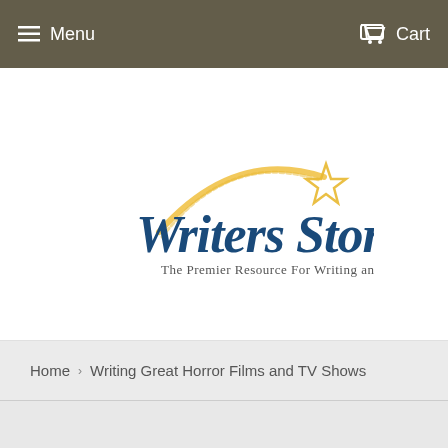Menu  Cart
[Figure (logo): Writers Store logo with shooting star graphic and tagline 'The Premier Resource For Writing and Filmmaking Tools']
Home › Writing Great Horror Films and TV Shows